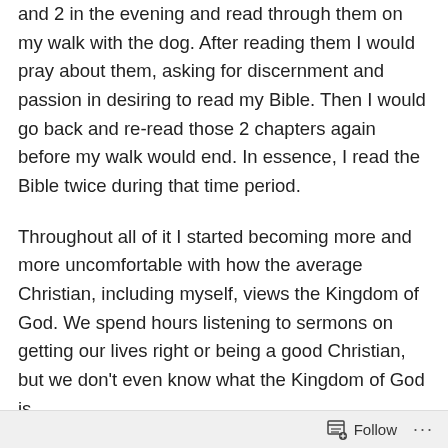and 2 in the evening and read through them on my walk with the dog. After reading them I would pray about them, asking for discernment and passion in desiring to read my Bible. Then I would go back and re-read those 2 chapters again before my walk would end. In essence, I read the Bible twice during that time period.
Throughout all of it I started becoming more and more uncomfortable with how the average Christian, including myself, views the Kingdom of God. We spend hours listening to sermons on getting our lives right or being a good Christian, but we don't even know what the Kingdom of God is.
In my first devotion after re-reading the Bible, I studied Matthew 1:1-17.
Follow ···